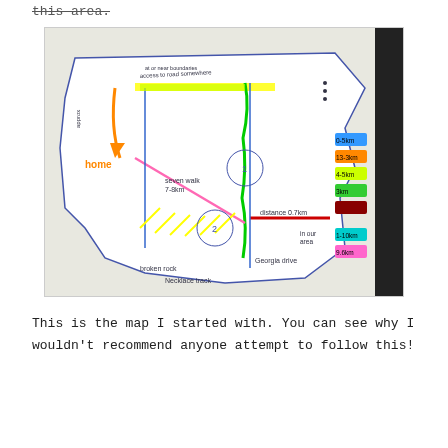this area.
[Figure (map): A hand-drawn map/sketch on white paper photographed at an angle. The map shows a geographic area with colored annotations: yellow highlighted top border, green wavy line running vertically, pink/magenta diagonal line, red horizontal line in middle, orange arrow pointing downward with 'home' label, blue vertical lines/segments, yellow hatching pattern, and colored legend boxes on the right side (blue 0-5km, orange 13-3km, yellow-green 4-5km, green 3km, dark red swatch, teal 1-10km, pink 9.6km). Various handwritten annotations and labels throughout.]
This is the map I started with. You can see why I wouldn't recommend anyone attempt to follow this!